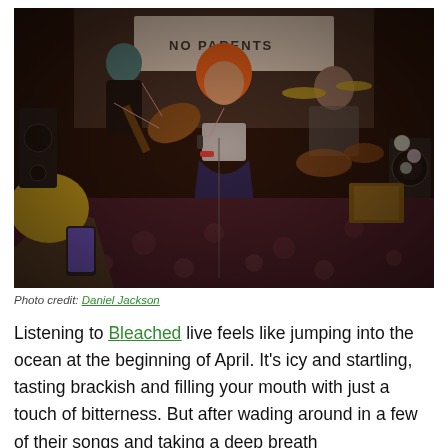[Figure (photo): A band performing live on stage. The lead singer, a woman with bright orange hair wearing a sparkly crop top and dark skirt, kneels on the stage floor singing into a microphone. A guitarist with teal hair plays behind her on the left. A drummer is visible in the background. A banner reading 'NO PARENTS' hangs in the background. An audience member in the foreground films with a smartphone.]
Photo credit: Daniel Jackson
Listening to Bleached live feels like jumping into the ocean at the beginning of April. It's icy and startling, tasting brackish and filling your mouth with just a touch of bitterness. But after wading around in a few of their songs and taking a deep breath